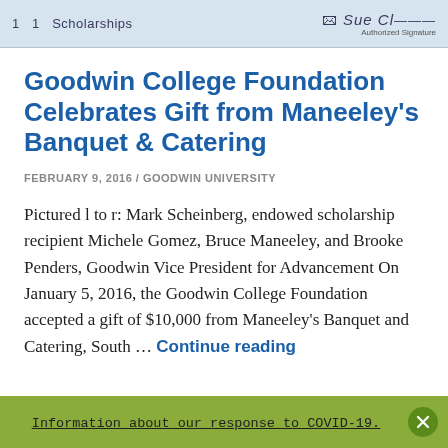1  1  Scholarships   [signature] Authorized Signature
Goodwin College Foundation Celebrates Gift from Maneeley’s Banquet & Catering
FEBRUARY 9, 2016 / GOODWIN UNIVERSITY
Pictured l to r: Mark Scheinberg, endowed scholarship recipient Michele Gomez, Bruce Maneeley, and Brooke Penders, Goodwin Vice President for Advancement On January 5, 2016, the Goodwin College Foundation accepted a gift of $10,000 from Maneeley’s Banquet and Catering, South … Continue reading
Information about our response to COVID-19.